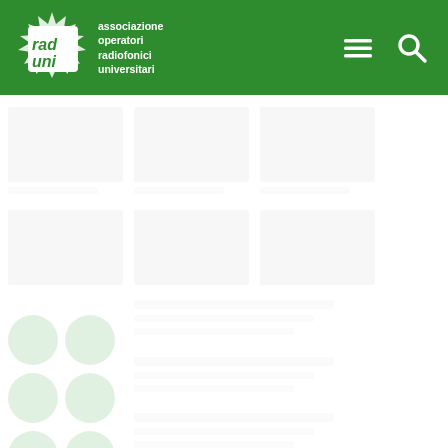[Figure (logo): Raduni logo — green header bar with 'rad uni' italic text and 'associazione operatori radiofonici universitari' tagline, plus hamburger menu and search icons]
[Figure (screenshot): White content area below header showing faint ghost/placeholder card thumbnails arranged in a grid, partially visible]